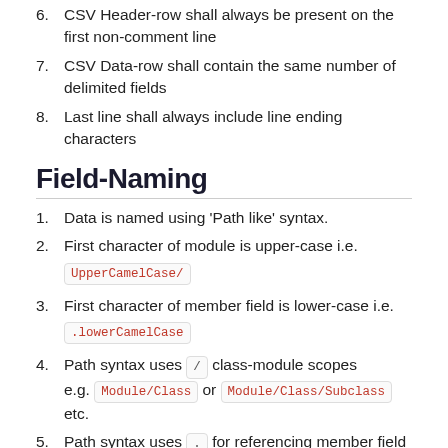6. CSV Header-row shall always be present on the first non-comment line
7. CSV Data-row shall contain the same number of delimited fields
8. Last line shall always include line ending characters
Field-Naming
1. Data is named using 'Path like' syntax.
2. First character of module is upper-case i.e. UpperCamelCase/
3. First character of member field is lower-case i.e. .lowerCamelCase
4. Path syntax uses / class-module scopes e.g. Module/Class or Module/Class/Subclass etc.
5. Path syntax uses . for referencing member field e.g. Module/Class.firstMember
6. Path syntax uses [1] postfix for Array of data